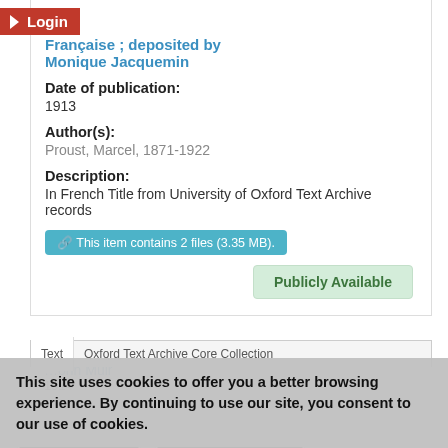Française ; deposited by Monique Jacquemin
Date of publication:
1913
Author(s):
Proust, Marcel, 1871-1922
Description:
In French Title from University of Oxford Text Archive records
This item contains 2 files (3.35 MB).
Publicly Available
Text    Oxford Text Archive Core Collection
This site uses cookies to offer you a better browsing experience. By continuing to use our site, you consent to our use of cookies.
I Understand
More Information